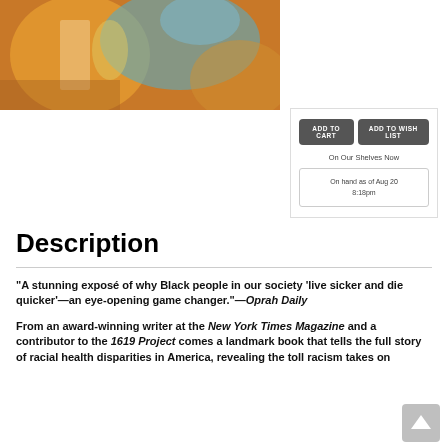[Figure (illustration): Colorful abstract book cover art with warm orange and yellow tones, blue accents, and abstract figures]
ADD TO CART
ADD TO WISH LIST
On Our Shelves Now
On hand as of Aug 20 8:18pm
Description
"A stunning exposé of why Black people in our society 'live sicker and die quicker'—an eye-opening game changer."—Oprah Daily
From an award-winning writer at the New York Times Magazine and a contributor to the 1619 Project comes a landmark book that tells the full story of racial health disparities in America, revealing the toll racism takes on